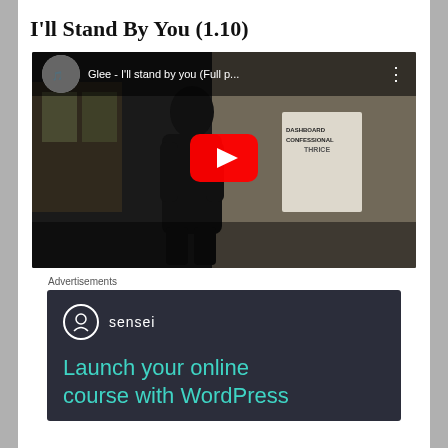I'll Stand By You (1.10)
[Figure (screenshot): Embedded YouTube video player showing 'Glee - I'll stand by you (Full p...' with a play button overlay. The video shows a young man in a black t-shirt standing in a room with posters on the wall.]
Advertisements
[Figure (screenshot): Advertisement for Sensei plugin showing logo and text 'Launch your online course with WordPress' on a dark background.]